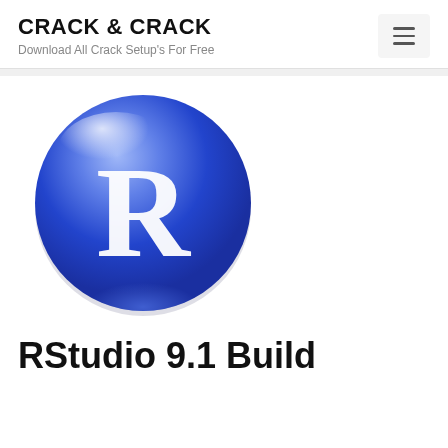CRACK & CRACK
Download All Crack Setup's For Free
[Figure (logo): Blue glossy sphere logo with white letter R in the center, representing RStudio application icon]
RStudio 9.1 Build